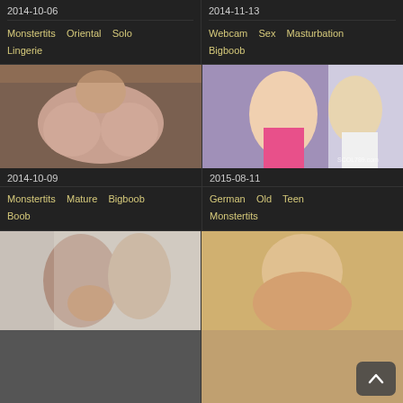2014-10-06
Monstertits  Oriental  Solo  Lingerie
2014-11-13
Webcam  Sex  Masturbation  Bigboob
[Figure (photo): Video thumbnail showing person]
2014-10-09
Monstertits  Mature  Bigboob  Boob
[Figure (photo): Video thumbnail showing two people]
2015-08-11
German  Old  Teen  Monstertits
[Figure (photo): Video thumbnail bottom left]
[Figure (photo): Video thumbnail bottom right]